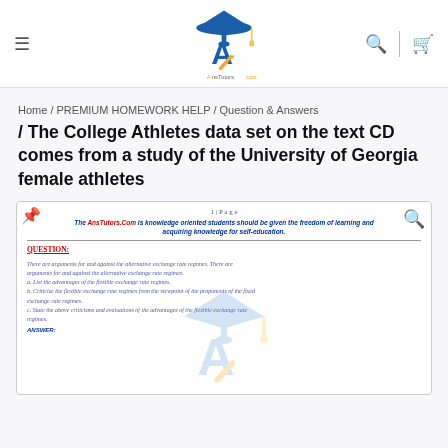AnsTutors.com website header with navigation hamburger, logo, search icon, and cart icon
Home / PREMIUM HOMEWORK HELP / Question & Answers / The College Athletes data set on the text CD comes from a study of the University of Georgia female athletes
/ The College Athletes data set on the text CD comes from a study of the University of Georgia female athletes
[Figure (screenshot): Blurred preview of a document page showing '1|Page' header, AnsTutors.Com tagline in blue and red italic text, a horizontal rule, QUESTION: label in red underlined, and blurred question text in blue-purple italic, partially obscured by a watermark logo.]